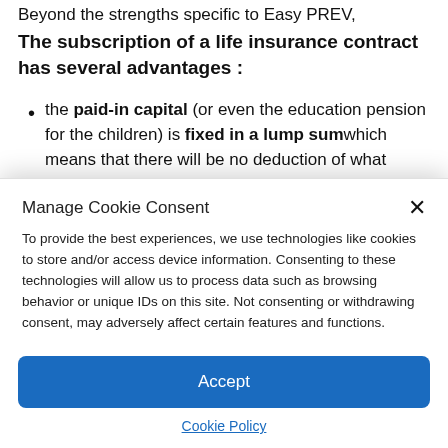Beyond the strengths specific to Easy PREV,
The subscription of a life insurance contract has several advantages :
the paid-in capital (or even the education pension for the children) is fixed in a lump sum which means that there will be no deduction of what
Manage Cookie Consent
To provide the best experiences, we use technologies like cookies to store and/or access device information. Consenting to these technologies will allow us to process data such as browsing behavior or unique IDs on this site. Not consenting or withdrawing consent, may adversely affect certain features and functions.
Accept
Cookie Policy